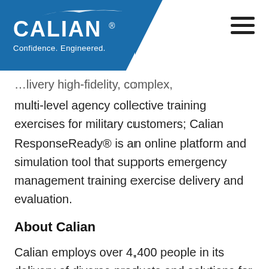[Figure (logo): Calian logo with blue angled background, white text CALIAN with registered mark, tagline Confidence. Engineered., and decorative wing shape above text. Hamburger menu icon top right.]
...livery high-fidelity, complex, multi-level agency collective training exercises for military customers; Calian ResponseReady® is an online platform and simulation tool that supports emergency management training exercise delivery and evaluation.
About Calian
Calian employs over 4,400 people in its delivery of diverse products and solutions for private sector, government and defence customers in North American and global markets. The Company's